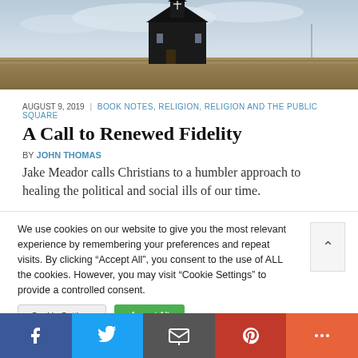[Figure (photo): A dark wooden church building on a flat grassy landscape under a cloudy sky]
AUGUST 9, 2019 | BOOK NOTES, RELIGION, RELIGION AND THE PUBLIC SQUARE
A Call to Renewed Fidelity
BY JOHN THOMAS
Jake Meador calls Christians to a humbler approach to healing the political and social ills of our time.
We use cookies on our website to give you the most relevant experience by remembering your preferences and repeat visits. By clicking “Accept All”, you consent to the use of ALL the cookies. However, you may visit "Cookie Settings" to provide a controlled consent.